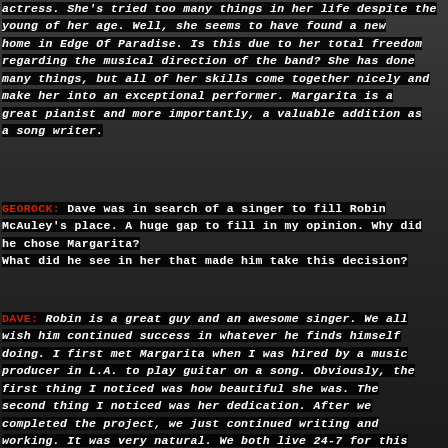actress. She's tried too many things in her life despite the young of her age. Well, she seems to have found a new home in Edge Of Paradise. Is this due to her total freedom regarding the musical direction of the band? She has done many things, but all of her skills come together nicely and make her into an exceptional performer. Margarita is a great pianist and more importantly, a valuable addition as a song writer.
GEOROCK: Dave was in search of a singer to fill Robin McAuley's place. A huge gap to fill in my opinion. Why did he chose Margarita? What did he see in her that made him take this decision?
DAVE: Robin is a great guy and an awesome singer. We all wish him continued success in whatever he finds himself doing. I first met Margarita when I was hired by a music producer in L.A. to play guitar on a song. Obviously, the first thing I noticed was how beautiful she was. The second thing I noticed was her dedication. After we completed the project, we just continued writing and working. It was very natural. We both live 24-7 for this band.